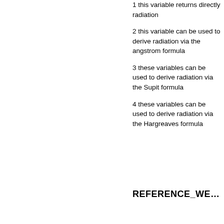1 this variable returns directly radiation
2 this variable can be used to derive radiation via the angstrom formula
3 these variables can be used to derive radiation via the Supit formula
4 these variables can be used to derive radiation via the Hargreaves formula
REFERENCE_WE…